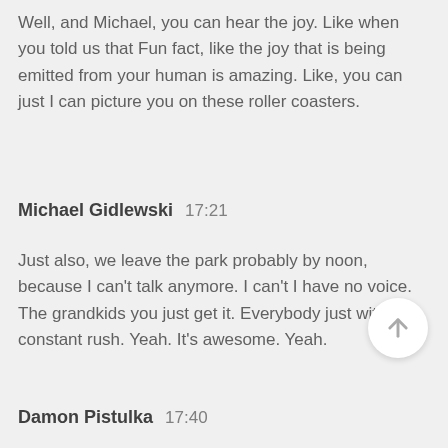Well, and Michael, you can hear the joy. Like when you told us that Fun fact, like the joy that is being emitted from your human is amazing. Like, you can just I can picture you on these roller coasters.
Michael Gidlewski  17:21
Just also, we leave the park probably by noon, because I can't talk anymore. I can't I have no voice. The grandkids you just get it. Everybody just with constant rush. Yeah. It's awesome. Yeah.
Damon Pistulka  17:40